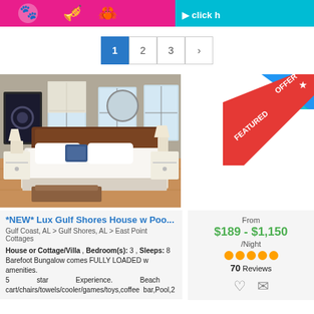Header banner with icons
1 2 3 ›
[Figure (photo): Bedroom interior of a beach house with a large bed, white bedding, hardwood floors, and windows with natural light.]
[Figure (infographic): FEATURED OFFER badge in red and blue diagonal banner with star icon]
*NEW* Lux Gulf Shores House w Poo...
Gulf Coast, AL > Gulf Shores, AL > East Point Cottages
House or Cottage/Villa , Bedroom(s): 3 , Sleeps: 8 Barefoot Bungalow comes FULLY LOADED w amenities. 5 star Experience. Beach cart/chairs/towels/cooler/games/toys,coffee bar,Pool,2
From
$189 - $1,150
/Night
70 Reviews